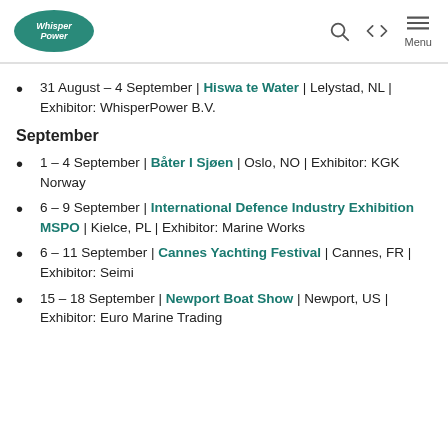WhisperPower logo and navigation icons
31 August – 4 September | Hiswa te Water | Lelystad, NL | Exhibitor: WhisperPower B.V.
September
1 – 4 September | Båter I Sjøen | Oslo, NO | Exhibitor: KGK Norway
6 – 9 September | International Defence Industry Exhibition MSPO | Kielce, PL | Exhibitor: Marine Works
6 – 11 September | Cannes Yachting Festival | Cannes, FR | Exhibitor: Seimi
15 – 18 September | Newport Boat Show | Newport, US | Exhibitor: Euro Marine Trading